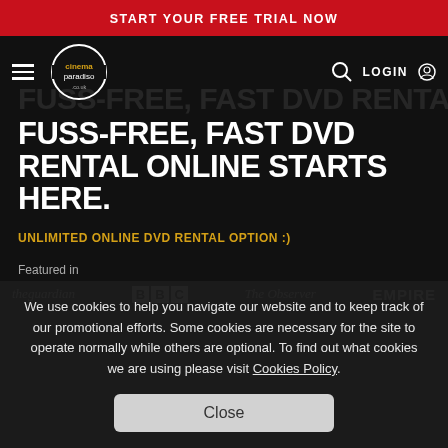START YOUR FREE TRIAL NOW
[Figure (logo): Cinema Paradiso .co.uk circular logo with hamburger menu, search icon and LOGIN button in navigation bar]
FUSS-FREE, FAST DVD RENTAL ONLINE STARTS HERE.
UNLIMITED ONLINE DVD RENTAL OPTION :)
Featured in
[Figure (logo): Media logos: theguardian, BBC, The Observer, EMPIRE]
We use cookies to help you navigate our website and to keep track of our promotional efforts. Some cookies are necessary for the site to operate normally while others are optional. To find out what cookies we are using please visit Cookies Policy.